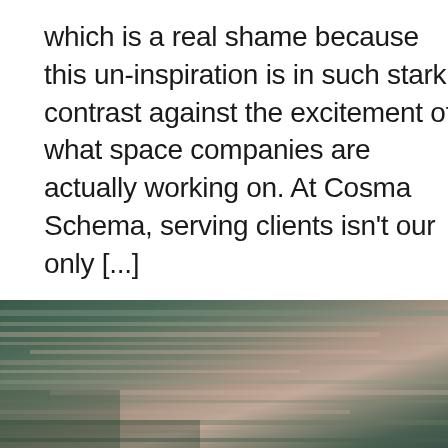which is a real shame because this un-inspiration is in such stark contrast against the excitement of what space companies are actually working on. At Cosma Schema, serving clients isn't our only [...]
[Figure (photo): Aerial or satellite photograph showing terrain with horizontal streaks of green, pink, and brown tones suggesting agricultural land or geological layers viewed from above.]